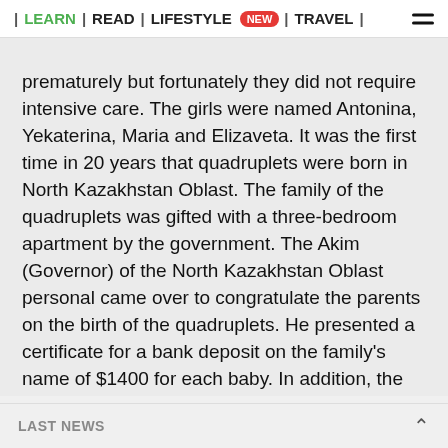| LEARN | READ | LIFESTYLE NEW | TRAVEL |
prematurely but fortunately they did not require intensive care. The girls were named Antonina, Yekaterina, Maria and Elizaveta. It was the first time in 20 years that quadruplets were born in North Kazakhstan Oblast. The family of the quadruplets was gifted with a three-bedroom apartment by the government. The Akim (Governor) of the North Kazakhstan Oblast personal came over to congratulate the parents on the birth of the quadruplets. He presented a certificate for a bank deposit on the family's name of $1400 for each baby. In addition, the family was paid a regular financial aid for newborns in the amount of $1200 and the regular monthly aid of $300 per each baby until they reach the age of one year. The financial aid and gifts
LAST NEWS